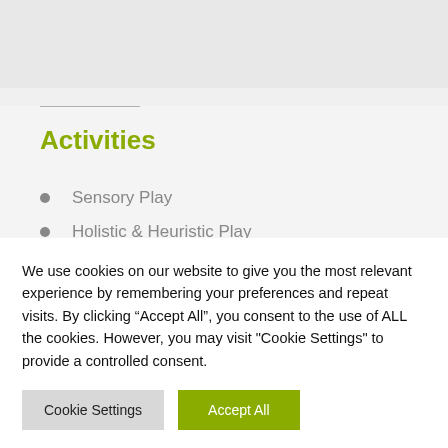Activities
Sensory Play
Holistic & Heuristic Play
Soft Play
We use cookies on our website to give you the most relevant experience by remembering your preferences and repeat visits. By clicking “Accept All”, you consent to the use of ALL the cookies. However, you may visit "Cookie Settings" to provide a controlled consent.